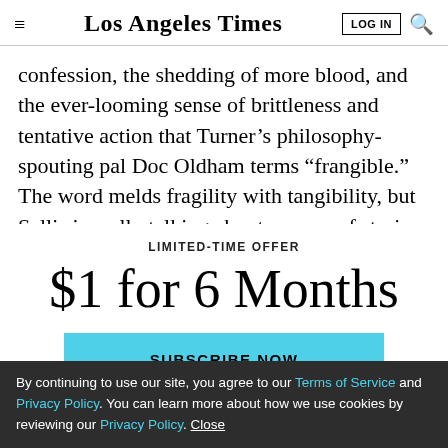Los Angeles Times
confession, the shedding of more blood, and the ever-looming sense of brittleness and tentative action that Turner’s philosophy-spouting pal Doc Oldham terms “frangible.” The word melds fragility with tangibility, but Sallis is really talking about a sense of stasis --
LIMITED-TIME OFFER
$1 for 6 Months
SUBSCRIBE NOW
By continuing to use our site, you agree to our Terms of Service and Privacy Policy. You can learn more about how we use cookies by reviewing our Privacy Policy. Close